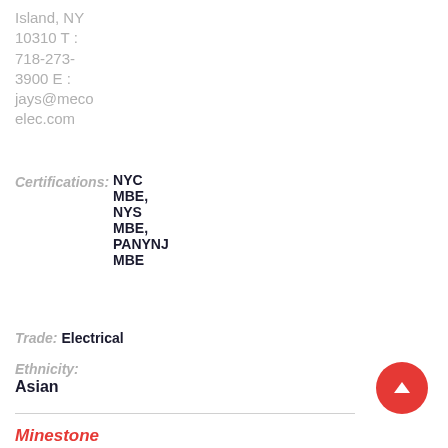Island, NY 10310 T : 718-273-3900 E : jays@mecoelec.com
Certifications: NYC MBE, NYS MBE, PANYNJ MBE
Trade: Electrical
Ethnicity:
Asian
Minestone